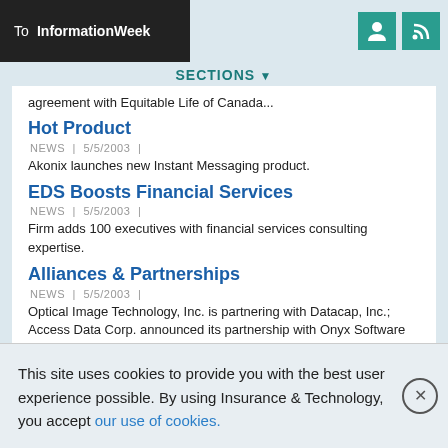To InformationWeek
SECTIONS
agreement with Equitable Life of Canada...
Hot Product
NEWS | 5/5/2003 |
Akonix launches new Instant Messaging product.
EDS Boosts Financial Services
NEWS | 5/5/2003 |
Firm adds 100 executives with financial services consulting expertise.
Alliances & Partnerships
NEWS | 5/5/2003 |
Optical Image Technology, Inc. is partnering with Datacap, Inc.; Access Data Corp. announced its partnership with Onyx Software Corp.; PRIORITY Data Systems' priorityrate.com will be integrated with AMS Services' AfW and Sagitta; Hyland Software Inc. formed a strategic partnership with CTG HealthCare Solutions.
This site uses cookies to provide you with the best user experience possible. By using Insurance & Technology, you accept our use of cookies.